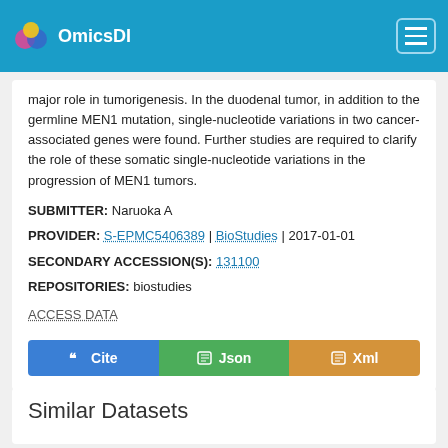OmicsDI
major role in tumorigenesis. In the duodenal tumor, in addition to the germline MEN1 mutation, single-nucleotide variations in two cancer-associated genes were found. Further studies are required to clarify the role of these somatic single-nucleotide variations in the progression of MEN1 tumors.
SUBMITTER: Naruoka A
PROVIDER: S-EPMC5406389 | BioStudies | 2017-01-01
SECONDARY ACCESSION(S): 131100
REPOSITORIES: biostudies
ACCESS DATA
Similar Datasets